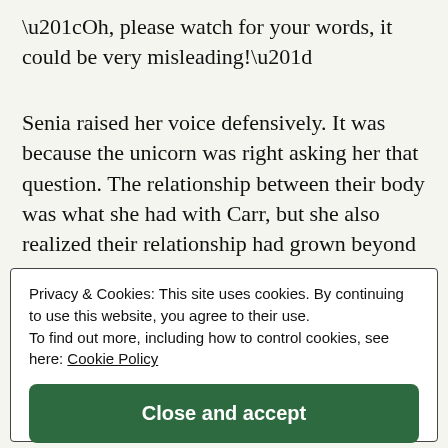“Oh, please watch for your words, it could be very misleading!”
Senia raised her voice defensively. It was because the unicorn was right asking her that question. The relationship between their body was what she had with Carr, but she also realized their relationship had grown beyond the physical aspect.
Privacy & Cookies: This site uses cookies. By continuing to use this website, you agree to their use.
To find out more, including how to control cookies, see here: Cookie Policy
Close and accept